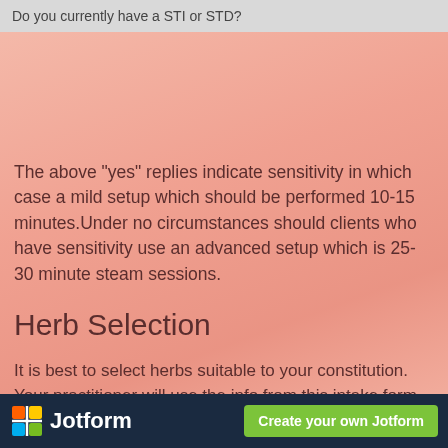Do you currently have a STI or STD?
The above "yes" replies indicate sensitivity in which case a mild setup which should be performed 10-15 minutes.Under no circumstances should clients who have sensitivity use an advanced setup which is 25- 30 minute steam sessions.
Herb Selection
It is best to select herbs suitable to your constitution. Your practitioner will use the info from this intake form to select a suitable vaginal steam formula for you.
Jotform  Create your own Jotform